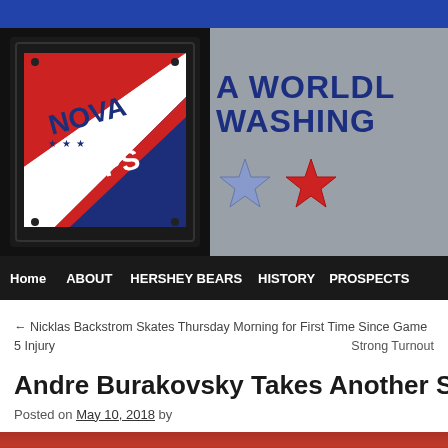[Figure (logo): NovaCaps hockey blog logo banner with Nova Caps emblem on left and 'A WORLDLY WASHINGTON' text with stars on right, dark metallic background, navigation bar below with Home, ABOUT, HERSHEY BEARS, HISTORY, PROSPECTS]
← Nicklas Backstrom Skates Thursday Morning for First Time Since Game 5 Injury
Strong Turnout
Andre Burakovsky Takes Another Step Fo
Posted on May 10, 2018 by
[Figure (photo): Bottom strip of a photo, reddish tones, partially visible]